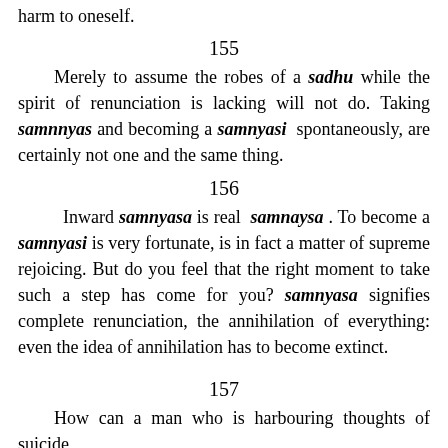harm to oneself.
155
Merely to assume the robes of a sadhu while the spirit of renunciation is lacking will not do. Taking samnnyas and becoming a samnyasi spontaneously, are certainly not one and the same thing.
156
Inward samnyasa is real samnaysa. To become a samnyasi is very fortunate, is in fact a matter of supreme rejoicing. But do you feel that the right moment to take such a step has come for you? samnyasa signifies complete renunciation, the annihilation of everything: even the idea of annihilation has to become extinct.
157
How can a man who is harbouring thoughts of suicide